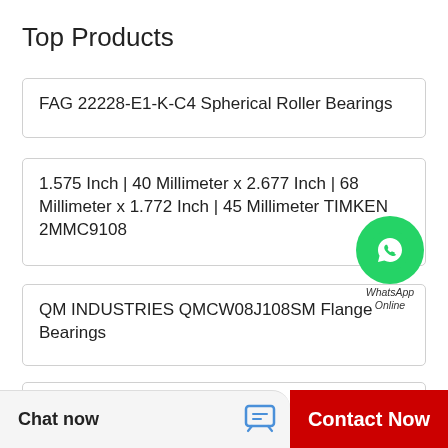Top Products
FAG 22228-E1-K-C4 Spherical Roller Bearings
1.575 Inch | 40 Millimeter x 2.677 Inch | 68 Millimeter x 1.772 Inch | 45 Millimeter TIMKEN 2MMC9108
QM INDUSTRIES QMCW08J108SM Flange Bearings
2.165 Inch | 55 Millimeter x 4.724 Inch | 120 Millimeter x 1.693 Inch | 43 Millimeter CONSOLIDATED B
[Figure (logo): WhatsApp Online green circle badge with phone icon and italic text 'WhatsApp Online']
Chat now
Contact Now